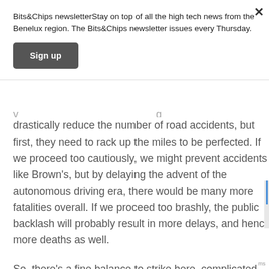Bits&Chips newsletterStay on top of all the high tech news from the Benelux region. The Bits&Chips newsletter issues every Thursday.
Sign up
drastically reduce the number of road accidents, but first, they need to rack up the miles to be perfected. If we proceed too cautiously, we might prevent accidents like Brown's, but by delaying the advent of the autonomous driving era, there would be many more fatalities overall. If we proceed too brashly, the public backlash will probably result in more delays, and hence more deaths as well.
So, there's a fine balance to strike here, complicated